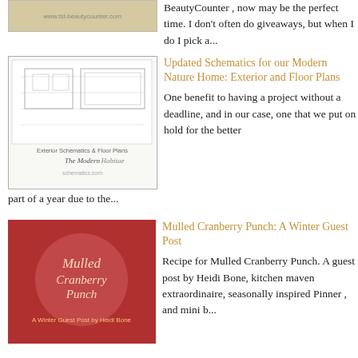BeautyCounter , now may be the perfect time. I don't often do giveaways, but when I do I pick a...
Updated Schematics for our Modern Nature Home: Exterior and Floor Plans
One benefit to having a project without a deadline, and in our case, one that we put on hold for the better part of a year due to the...
Mulled Cranberry Punch: A Winter Guest Post
Recipe for Mulled Cranberry Punch. A guest post by Heidi Bone, kitchen maven extraordinaire, seasonally inspired Pinner , and mini b...
A Wild Patience Has Taken Me This Far
A wild patience has taken me this far. … —Adrienne Rich When Winslet was born she was so tiny. There is no way to convey just how small a...
House Build Progress and Moroccan Fish Scale Tiles
Our home is the closest it's ever
just don't go to
really happeni
Based on our V
with and refin
3 COMMENT
Anon
How d
well p
Reply
▼ R